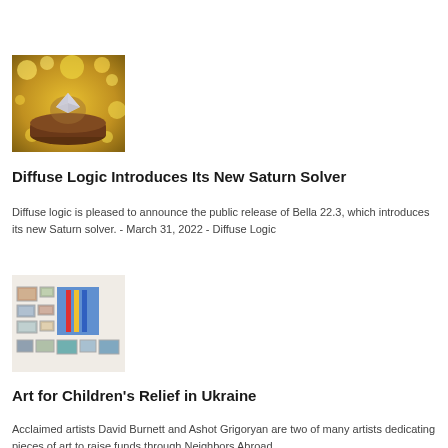[Figure (photo): Photo of a diamond or crystal ring on a dark platform with warm golden bokeh lights in the background]
Diffuse Logic Introduces Its New Saturn Solver
Diffuse logic is pleased to announce the public release of Bella 22.3, which introduces its new Saturn solver. - March 31, 2022 - Diffuse Logic
[Figure (photo): Photo of an art gallery wall display with various framed photographs and a large blue artwork with colored stripes]
Art for Children's Relief in Ukraine
Acclaimed artists David Burnett and Ashot Grigoryan are two of many artists dedicating pieces of art to raise funds through Neighbors Abroad